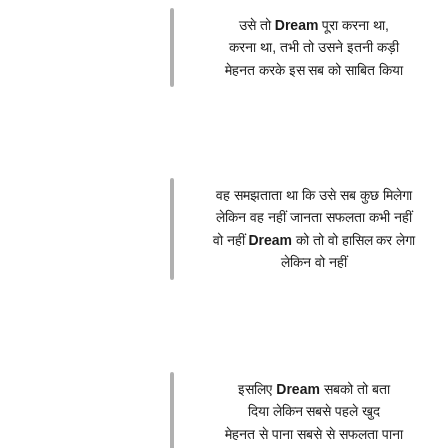उसे तो Dream पूरा करना था,
करना था, तभी तो उसने इतनी कड़ी
मेहनत करके इस सब को साबित किया
वह समझताता था कि उसे सब कुछ मिलेगा
लेकिन वह नहीं जानता सफलता कभी नहीं
वो नहीं Dream को तो वो हासिल कर लेगा
लेकिन वो नहीं
इसलिए Dream सबको तो बता
दिया लेकिन सबसे पहले खुद
मेहनत से पाना सबसे से सफलता पाना
जब सब कुछ सबका लगाता Dream